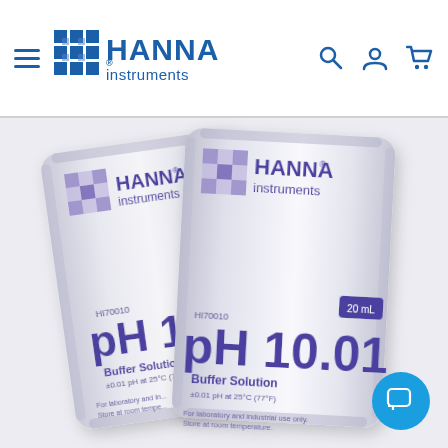Hanna Instruments navigation header with logo, hamburger menu, search, account, and cart icons
[Figure (photo): Two Hanna Instruments pH 10.01 Buffer Solution sachets (HI70010), 20mL each, shown overlapping on a light background. Each sachet displays the Hanna Instruments logo in purple/blue, product code HI70010, pH 10.01, Buffer Solution, ±0.01 pH at 25°C (77°F), and text: For laboratory and industrial use only. Store at room temperature.]